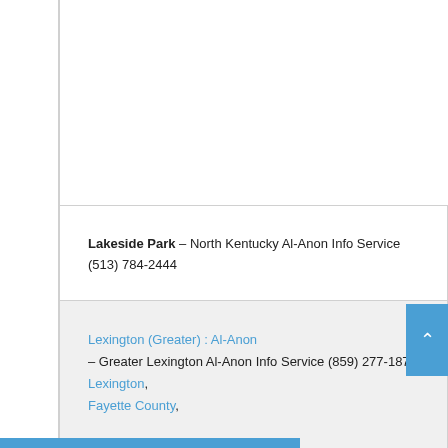Lakeside Park – North Kentucky Al-Anon Info Service
(513) 784-2444
Lexington (Greater) : Al-Anon – Greater Lexington Al-Anon Info Service (859) 277-1877.
Lexington,
Fayette County,
Kentucky.